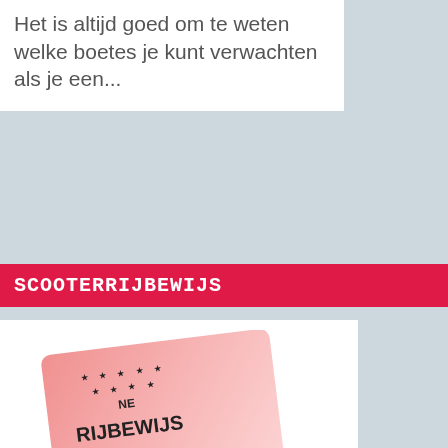Het is altijd goed om te weten welke boetes je kunt verwachten als je een...
SCOOTERRIJBEWIJS
[Figure (photo): A pink Dutch rijbewijs (driving licence) card shown at an angle with stars and multilingual text]
Scooterrijbewijs
Scooter- en brommerrijbewijs vanaf januari 2013 (rijbewijs